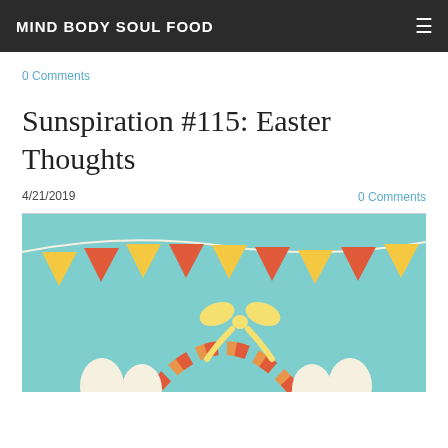MIND BODY SOUL FOOD
0 Comments
Sunspiration #115: Easter Thoughts
4/21/2019
0 Comments
[Figure (illustration): Easter themed illustration with teal background, colorful bunting flags in yellow and orange/red arranged in garland across the top, and a striped Easter basket with a yellow bow visible at the bottom, with white eggs.]